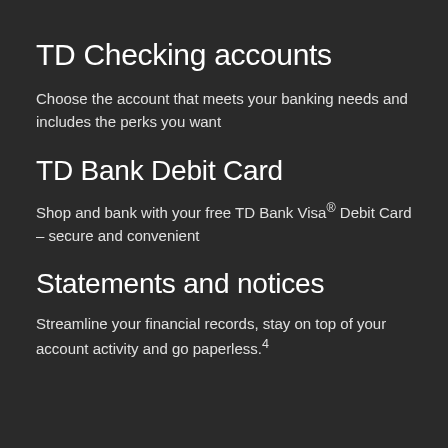TD Checking accounts
Choose the account that meets your banking needs and includes the perks you want
TD Bank Debit Card
Shop and bank with your free TD Bank Visa® Debit Card – secure and convenient
Statements and notices
Streamline your financial records, stay on top of your account activity and go paperless.4